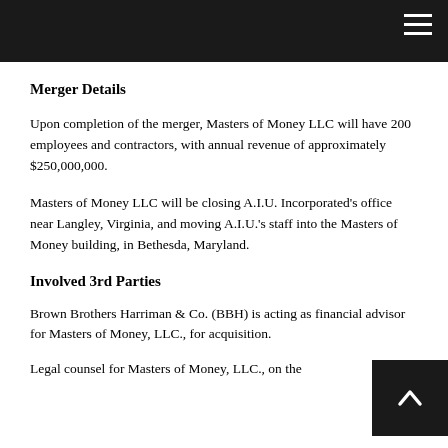Merger Details
Upon completion of the merger, Masters of Money LLC will have 200 employees and contractors, with annual revenue of approximately $250,000,000.
Masters of Money LLC will be closing A.I.U. Incorporated's office near Langley, Virginia, and moving A.I.U.'s staff into the Masters of Money building, in Bethesda, Maryland.
Involved 3rd Parties
Brown Brothers Harriman & Co. (BBH) is acting as financial advisor for Masters of Money, LLC., for acquisition.
Legal counsel for Masters of Money, LLC., on the